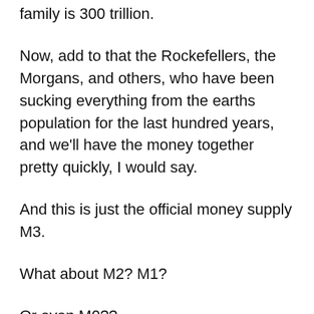family is 300 trillion.
Now, add to that the Rockefellers, the Morgans, and others, who have been sucking everything from the earths population for the last hundred years, and we'll have the money together pretty quickly, I would say.
And this is just the official money supply M3.
What about M2? M1?
Or even M0??
There is ENOUGH money!